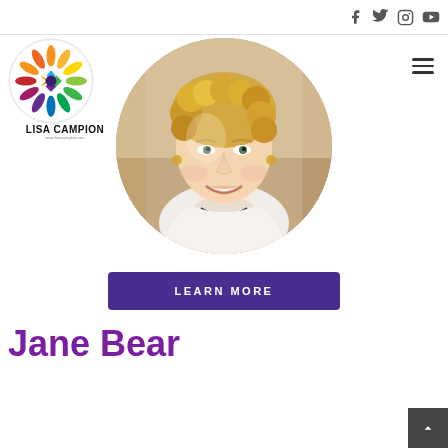Lisa Campion website header with social icons (Facebook, Twitter, Instagram, YouTube) and hamburger menu
[Figure (logo): Lisa Campion circular logo with colorful mandala/flower design, text 'LISA CAMPION' below]
[Figure (photo): Circular portrait photo of Jane Bear, a woman with curly blonde hair, smiling, wearing a white top with a necklace, against a wooden background]
LEARN MORE
Jane Bear